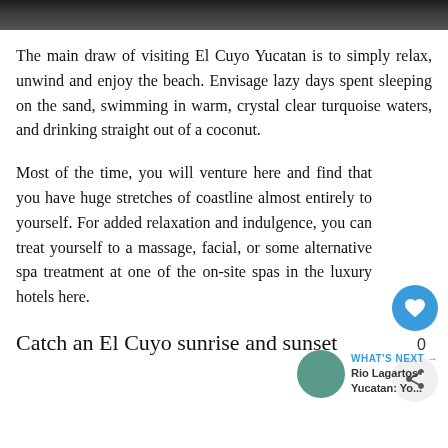[Figure (photo): Top portion of a photo strip showing a dark/rocky scene, partially cropped at the top of the page]
The main draw of visiting El Cuyo Yucatan is to simply relax, unwind and enjoy the beach. Envisage lazy days spent sleeping on the sand, swimming in warm, crystal clear turquoise waters, and drinking straight out of a coconut.
Most of the time, you will venture here and find that you have huge stretches of coastline almost entirely to yourself. For added relaxation and indulgence, you can treat yourself to a massage, facial, or some alternative spa treatment at one of the on-site spas in the luxury hotels here.
Catch an El Cuyo sunrise and sunset